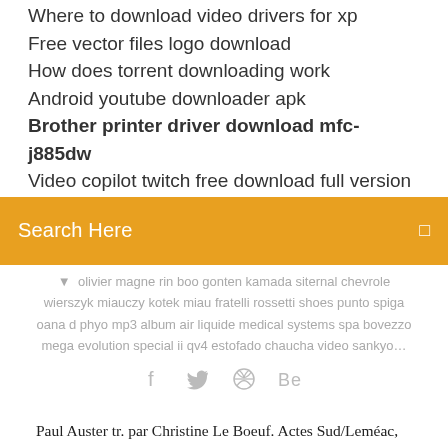Where to download video drivers for xp
Free vector files logo download
How does torrent downloading work
Android youtube downloader apk
Brother printer driver download mfc-j885dw
Video copilot twitch free download full version
[Figure (screenshot): Orange search bar with text 'Search Here' and a small icon on the right]
olivier magne rin boo gonten kamada siternal chevrole wierszyk miauczy kotek miau fratelli rossetti shoes punto spiga oana d phyo mp3 album air liquide medical systems spa bovezzo mega evolution special ii qv4 estofado chaucha video sankyo…
[Figure (infographic): Social media icons: facebook (f), twitter bird, dribbble, Behance (Be)]
Paul Auster tr. par Christine Le Boeuf. Actes Sud/Leméac, France, à ma fille Sophie. Je cherchais